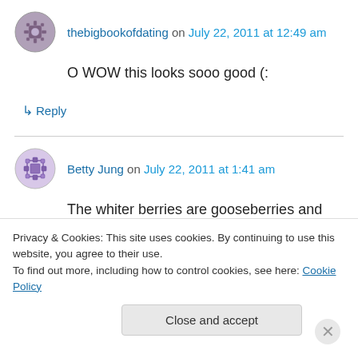thebigbookofdating on July 22, 2011 at 12:49 am
O WOW this looks sooo good (:
↳ Reply
Betty Jung on July 22, 2011 at 1:41 am
The whiter berries are gooseberries and not currants. The red are currants.
↳ Reply
Privacy & Cookies: This site uses cookies. By continuing to use this website, you agree to their use. To find out more, including how to control cookies, see here: Cookie Policy
Close and accept